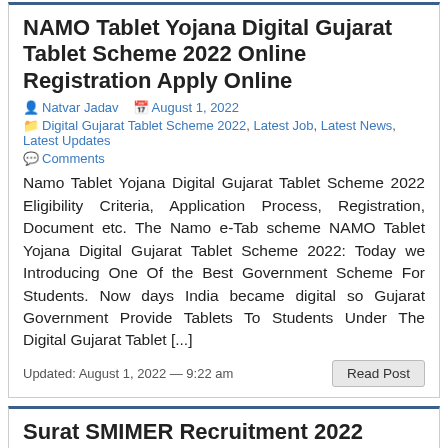NAMO Tablet Yojana Digital Gujarat Tablet Scheme 2022 Online Registration Apply Online
Natvar Jadav   August 1, 2022
Digital Gujarat Tablet Scheme 2022, Latest Job, Latest News, Latest Updates
Comments
Namo Tablet Yojana Digital Gujarat Tablet Scheme 2022 Eligibility Criteria, Application Process, Registration, Document etc. The Namo e-Tab scheme NAMO Tablet Yojana Digital Gujarat Tablet Scheme 2022: Today we Introducing One Of the Best Government Scheme For Students. Now days India became digital so Gujarat Government Provide Tablets To Students Under The Digital Gujarat Tablet [...]
Updated: August 1, 2022 — 9:22 am
Surat SMIMER Recruitment 2022 Apply for Various Posts
Natvar Jadav   July 7, 2022
Latest Job, Latest Updates, SMIMER Recruitment   Comments
Surat SMIMER Recruitment 2022 Apply for Various Posts : Surat